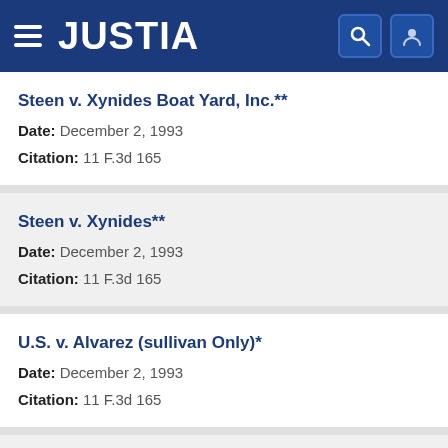JUSTIA
Steen v. Xynides Boat Yard, Inc.**
Date: December 2, 1993
Citation: 11 F.3d 165
Steen v. Xynides**
Date: December 2, 1993
Citation: 11 F.3d 165
U.S. v. Alvarez (sullivan Only)*
Date: December 2, 1993
Citation: 11 F.3d 165
U.S. v. Bonidy**
Date: December 1, 1993